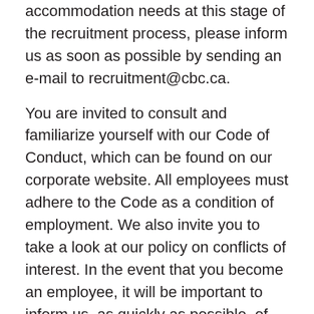accommodation needs at this stage of the recruitment process, please inform us as soon as possible by sending an e-mail to recruitment@cbc.ca.
You are invited to consult and familiarize yourself with our Code of Conduct, which can be found on our corporate website. All employees must adhere to the Code as a condition of employment. We also invite you to take a look at our policy on conflicts of interest. In the event that you become an employee, it will be important to inform us, as quickly as possible, of any situation that, because of your hiring, constitutes or could appear to constitute a conflict of interest.
Wherever in the wording of the job description either gender is used, it shall be understood to include all genders.